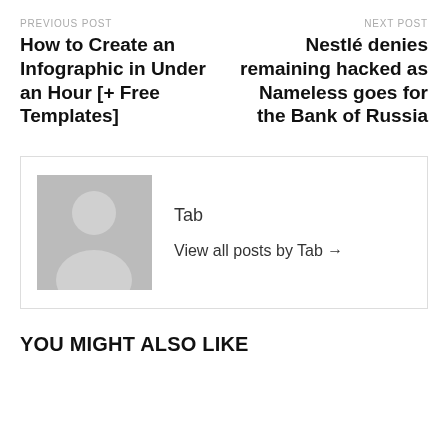PREVIOUS POST
How to Create an Infographic in Under an Hour [+ Free Templates]
NEXT POST
Nestlé denies remaining hacked as Nameless goes for the Bank of Russia
Tab
View all posts by Tab →
YOU MIGHT ALSO LIKE